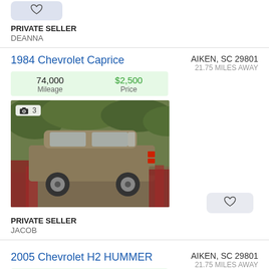[Figure (other): Heart/favorite button (light blue pill shape with heart icon)]
PRIVATE SELLER
DEANNA
1984 Chevrolet Caprice
| Mileage | Price |
| --- | --- |
| 74,000 | $2,500 |
AIKEN, SC 29801
21.75 MILES AWAY
[Figure (photo): Photo of a 1984 Chevrolet Caprice, brown/gold color, parked outdoors on grass with red equipment nearby. Photo count badge shows 3.]
[Figure (other): Heart/favorite button (light gray pill shape with heart outline icon)]
PRIVATE SELLER
JACOB
2005 Chevrolet H2 HUMMER
| Mileage | Price |
| --- | --- |
| 174,000 | $15,995 |
AIKEN, SC 29801
21.75 MILES AWAY
[Figure (photo): Partial photo of a dark-colored 2005 Chevrolet H2 Hummer. Photo count badge shows 2.]